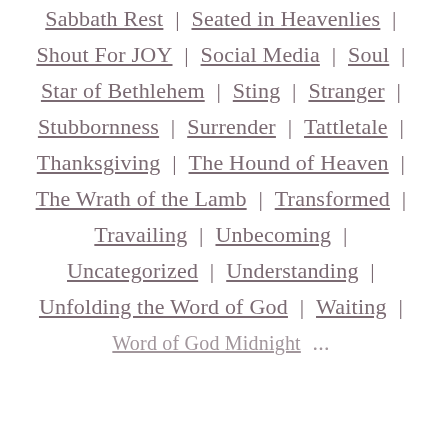Sabbath Rest | Seated in Heavenlies |
Shout For JOY | Social Media | Soul |
Star of Bethlehem | Sting | Stranger |
Stubbornness | Surrender | Tattletale |
Thanksgiving | The Hound of Heaven |
The Wrath of the Lamb | Transformed |
Travailing | Unbecoming |
Uncategorized | Understanding |
Unfolding the Word of God | Waiting |
Word of God Midnight ...